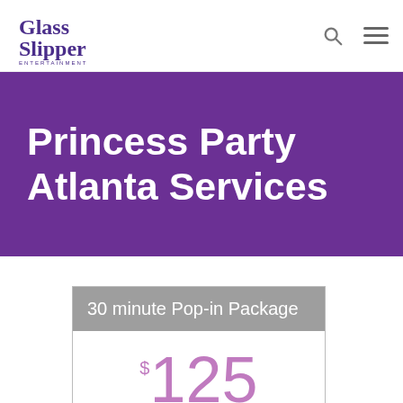[Figure (logo): Glass Slipper Entertainment logo with stylized text in purple/dark blue serif font]
Princess Party Atlanta Services
30 minute Pop-in Package
$125